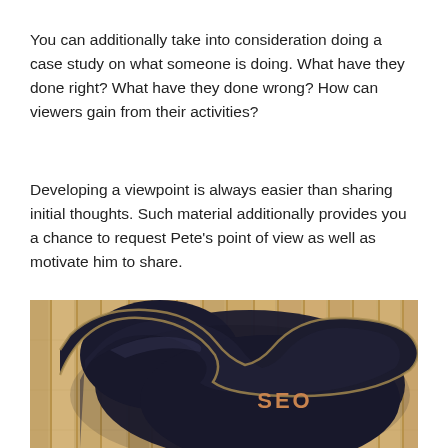You can additionally take into consideration doing a case study on what someone is doing. What have they done right? What have they done wrong? How can viewers gain from their activities?
Developing a viewpoint is always easier than sharing initial thoughts. Such material additionally provides you a chance to request Pete's point of view as well as motivate him to share.
[Figure (photo): A black guitar case with gold trim lying on a wooden floor, with the text 'SEO' printed in brown/copper letters on the case interior.]